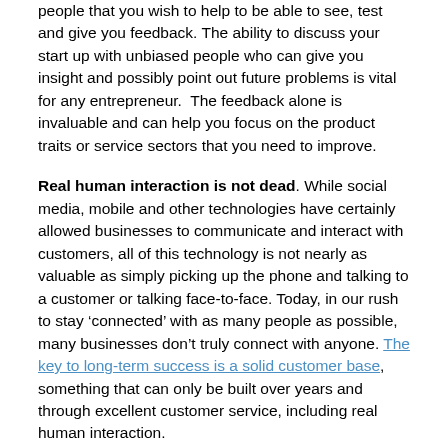people that you wish to help to be able to see, test and give you feedback. The ability to discuss your start up with unbiased people who can give you insight and possibly point out future problems is vital for any entrepreneur.  The feedback alone is invaluable and can help you focus on the product traits or service sectors that you need to improve.
Real human interaction is not dead. While social media, mobile and other technologies have certainly allowed businesses to communicate and interact with customers, all of this technology is not nearly as valuable as simply picking up the phone and talking to a customer or talking face-to-face. Today, in our rush to stay ‘connected’ with as many people as possible, many businesses don’t truly connect with anyone. The key to long-term success is a solid customer base, something that can only be built over years and through excellent customer service, including real human interaction.
Hey hey, you you, get into the cloud.  If you are an entrepreneur, cloud technology should be your very best friend.